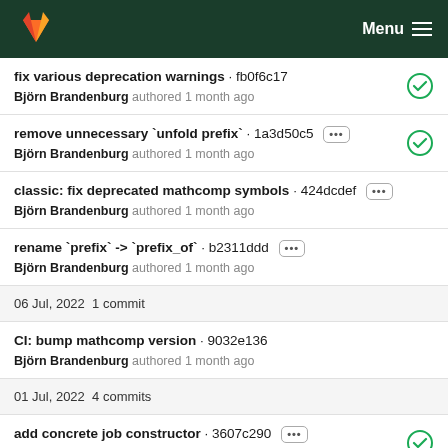GitLab · Menu
fix various deprecation warnings · fb0f6c17 | Björn Brandenburg authored 1 month ago
remove unnecessary `unfold prefix` · 1a3d50c5 | Björn Brandenburg authored 1 month ago
classic: fix deprecated mathcomp symbols · 424dcdef | Björn Brandenburg authored 1 month ago
rename `prefix` -> `prefix_of` · b2311ddd | Björn Brandenburg authored 1 month ago
06 Jul, 2022  1 commit
CI: bump mathcomp version · 9032e136 | Björn Brandenburg authored 1 month ago
01 Jul, 2022  4 commits
add concrete job constructor · 3607c290 | Björn Brandenburg authored 1 month ago